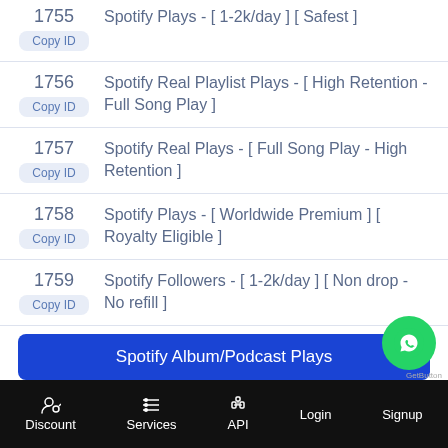1755  Spotify Plays - [ 1-2k/day ] [ Safest ]
1756  Spotify Real Playlist Plays - [ High Retention - Full Song Play ]
1757  Spotify Real Plays - [ Full Song Play - High Retention ]
1758  Spotify Plays - [ Worldwide Premium ] [ Royalty Eligible ]
1759  Spotify Followers - [ 1-2k/day ] [ Non drop - No refill ]
Spotify Album/Podcast Plays
Discount  Services  API  Login  Signup